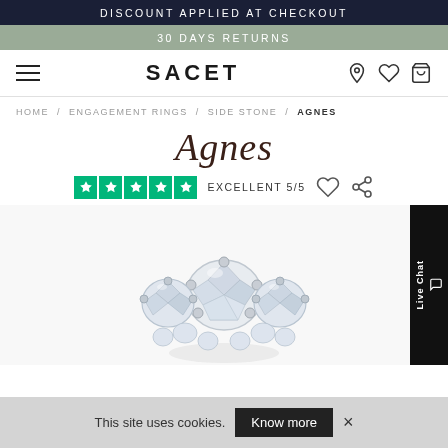DISCOUNT APPLIED AT CHECKOUT
30 DAYS RETURNS
SACET
HOME / ENGAGEMENT RINGS / SIDE STONE / AGNES
Agnes
EXCELLENT 5/5
[Figure (photo): Diamond engagement ring with side stones, silver/white gold setting, shown from above]
This site uses cookies. Know more ×